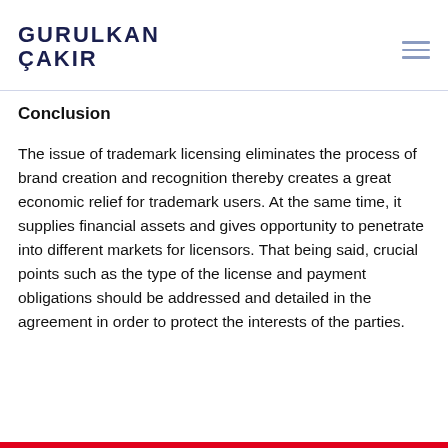GURULKAN ÇAKIR
Conclusion
The issue of trademark licensing eliminates the process of brand creation and recognition thereby creates a great economic relief for trademark users. At the same time, it supplies financial assets and gives opportunity to penetrate into different markets for licensors. That being said, crucial points such as the type of the license and payment obligations should be addressed and detailed in the agreement in order to protect the interests of the parties.